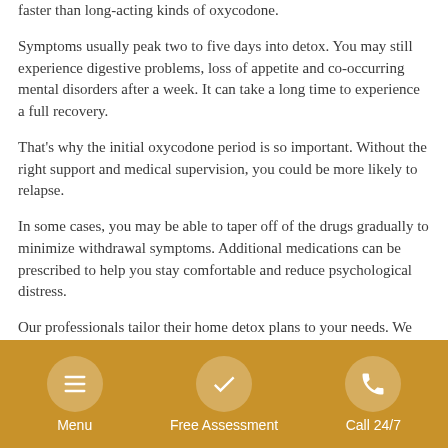faster than long-acting kinds of oxycodone.
Symptoms usually peak two to five days into detox. You may still experience digestive problems, loss of appetite and co-occurring mental disorders after a week. It can take a long time to experience a full recovery.
That's why the initial oxycodone period is so important. Without the right support and medical supervision, you could be more likely to relapse.
In some cases, you may be able to taper off of the drugs gradually to minimize withdrawal symptoms. Additional medications can be prescribed to help you stay comfortable and reduce psychological distress.
Our professionals tailor their home detox plans to your needs. We offer the support that you require and the care that you need to launch yourself into a long and successful recovery.
Menu | Free Assessment | Call 24/7